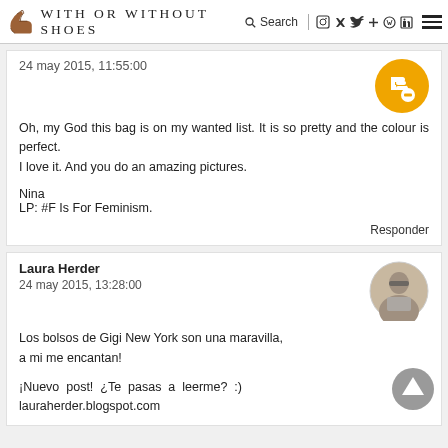With Or Without Shoes — Search, social icons, menu
24 may 2015, 11:55:00

Oh, my God this bag is on my wanted list. It is so pretty and the colour is perfect.
I love it. And you do an amazing pictures.

Nina
LP: #F Is For Feminism.

Responder
Laura Herder
24 may 2015, 13:28:00

Los bolsos de Gigi New York son una maravilla, a mi me encantan!

¡Nuevo post! ¿Te pasas a leerme? :) lauraherder.blogspot.com

Responder